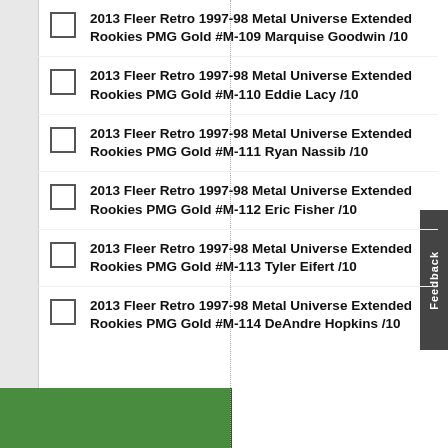2013 Fleer Retro 1997-98 Metal Universe Extended Rookies PMG Gold #M-109 Marquise Goodwin /10
2013 Fleer Retro 1997-98 Metal Universe Extended Rookies PMG Gold #M-110 Eddie Lacy /10
2013 Fleer Retro 1997-98 Metal Universe Extended Rookies PMG Gold #M-111 Ryan Nassib /10
2013 Fleer Retro 1997-98 Metal Universe Extended Rookies PMG Gold #M-112 Eric Fisher /10
2013 Fleer Retro 1997-98 Metal Universe Extended Rookies PMG Gold #M-113 Tyler Eifert /10
2013 Fleer Retro 1997-98 Metal Universe Extended Rookies PMG Gold #M-114 DeAndre Hopkins /10